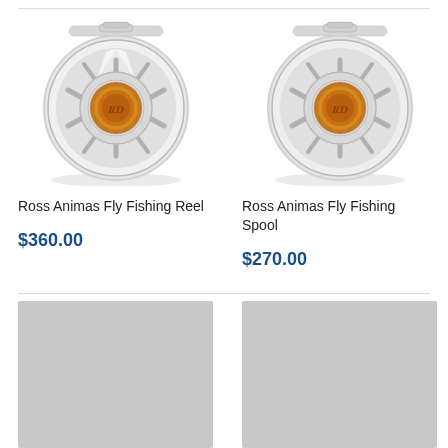[Figure (photo): Ross Animas Fly Fishing Reel - silver reel with orange center hub]
Ross Animas Fly Fishing Reel
$360.00
[Figure (photo): Ross Animas Fly Fishing Spool - silver spool with orange center hub]
Ross Animas Fly Fishing Spool
$270.00
[Figure (photo): Gray placeholder image for product]
[Figure (photo): Gray placeholder image for product]